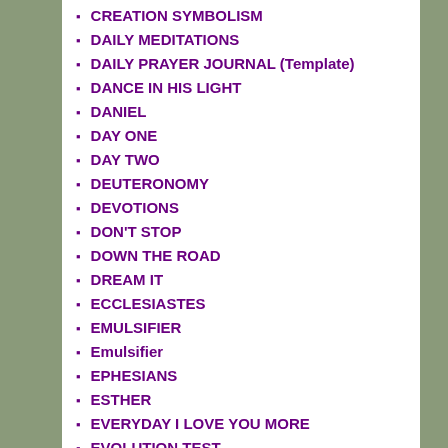CREATION SYMBOLISM
DAILY MEDITATIONS
DAILY PRAYER JOURNAL (Template)
DANCE IN HIS LIGHT
DANIEL
DAY ONE
DAY TWO
DEUTERONOMY
DEVOTIONS
DON'T STOP
DOWN THE ROAD
DREAM IT
ECCLESIASTES
EMULSIFIER
Emulsifier
EPHESIANS
ESTHER
EVERYDAY I LOVE YOU MORE
EVOLUTION TEST
EXODUS
EXODUS AND THE CHRISTIAN LIFE
EZEKIEL